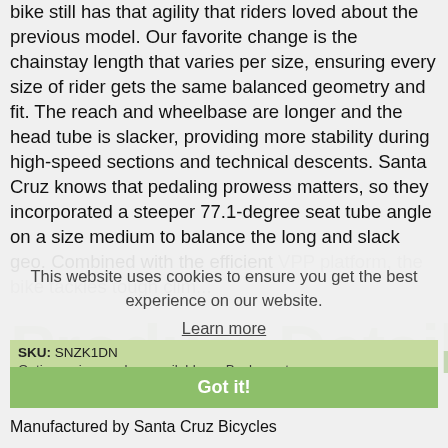bike still has that agility that riders loved about the previous model. Our favorite change is the chainstay length that varies per size, ensuring every size of rider gets the same balanced geometry and fit. The reach and wheelbase are longer and the head tube is slacker, providing more stability during high-speed sections and technical descents. Santa Cruz knows that pedaling prowess matters, so they incorporated a steeper 77.1-degree seat tube angle on a size medium to balance the long and slack geo. Combined with the efficient VPP platform, the bike tackles tough clim...
This website uses cookies to ensure you get the best experience on our website. Learn more
Product Details
Got it!
SKU: SNZK1DN
Options, sizes, colors available on Backcountry
Manufactured by Santa Cruz Bicycles